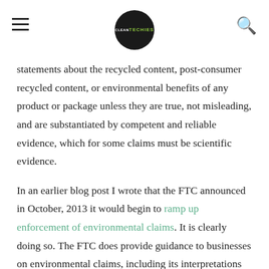CLEANTECHIES [logo]
statements about the recycled content, post-consumer recycled content, or environmental benefits of any product or package unless they are true, not misleading, and are substantiated by competent and reliable evidence, which for some claims must be scientific evidence.
In an earlier blog post I wrote that the FTC announced in October, 2013 it would begin to ramp up enforcement of environmental claims. It is clearly doing so. The FTC does provide guidance to businesses on environmental claims, including its interpretations of federal law that at times fly in the face of the free flow of commercial information, in its Green Guides.